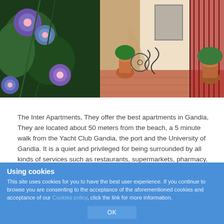[Figure (photo): Photo of a Spanish alleyway/courtyard with colorful morning glory flowers (purple/blue) and lush green plants on the left, and a tiled pathway leading to white-walled buildings with terracotta clay pots and ironwork balconies on the right.]
The Inter Apartments, They offer the best apartments in Gandia, They are located about 50 meters from the beach, a 5 minute walk from the Yacht Club Gandia, the port and the University of Gandia. It is a quiet and privileged for being surrounded by all kinds of services such as restaurants, supermarkets, pharmacy, post, Valencia train station, Y ...
CONTINUE READING
Using cookies
This site uses cookies for you to have the best user experience. If you continue to browse you are consenting to the acceptance of the aforementioned cookies and acceptance of our Cookies policy, click the link for more information.
OK